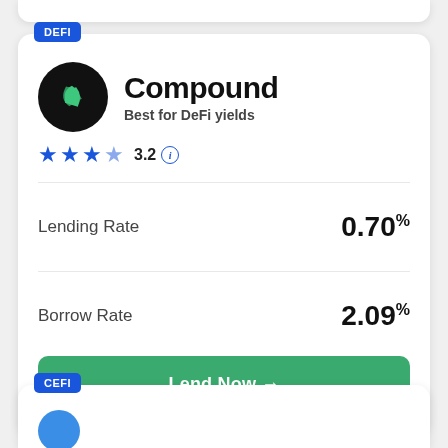DEFI
Compound
Best for DeFi yields
3.2
Lending Rate 0.70%
Borrow Rate 2.09%
Lend Now →
CEFI